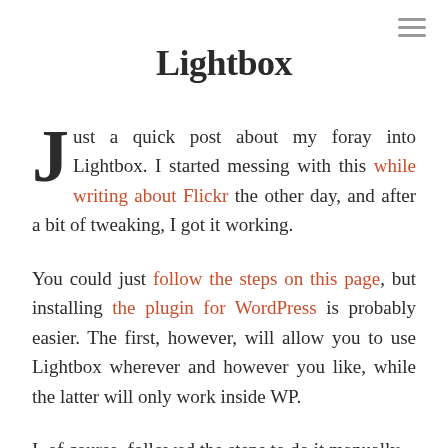[Figure (other): Hamburger menu icon (three horizontal lines) in top right corner]
Lightbox
Just a quick post about my foray into Lightbox. I started messing with this while writing about Flickr the other day, and after a bit of tweaking, I got it working.
You could just follow the steps on this page, but installing the plugin for WordPress is probably easier. The first, however, will allow you to use Lightbox wherever and however you like, while the latter will only work inside WP.
I, of course, followed the steps to do it manually